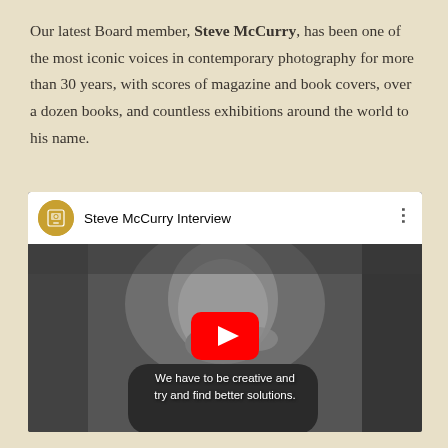Our latest Board member, Steve McCurry, has been one of the most iconic voices in contemporary photography for more than 30 years, with scores of magazine and book covers, over a dozen books, and countless exhibitions around the world to his name.
[Figure (screenshot): YouTube video embed showing Steve McCurry Interview. Black and white thumbnail of an elderly bald man. Channel icon is a golden emblem. Title reads 'Steve McCurry Interview'. Red YouTube play button centered. Subtitle text: 'We have to be creative and try and find better solutions.']